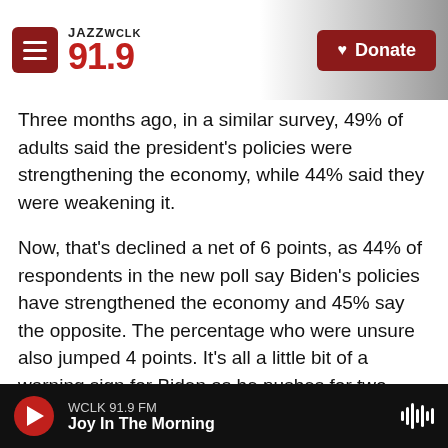JAZZ WCLK 91.9 — Donate
Three months ago, in a similar survey, 49% of adults said the president's policies were strengthening the economy, while 44% said they were weakening it.
Now, that's declined a net of 6 points, as 44% of respondents in the new poll say Biden's policies have strengthened the economy and 45% say the opposite. The percentage who were unsure also jumped 4 points. It's all a little bit of a warning sign for Biden as he pushes for two large — and expensive — spending packages.
WCLK 91.9 FM — Joy In The Morning